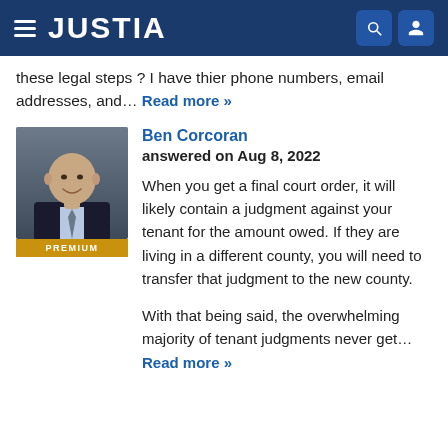JUSTIA
these legal steps ? I have thier phone numbers, email addresses, and… Read more »
Ben Corcoran
answered on Aug 8, 2022

When you get a final court order, it will likely contain a judgment against your tenant for the amount owed. If they are living in a different county, you will need to transfer that judgment to the new county.

With that being said, the overwhelming majority of tenant judgments never get… Read more »
[Figure (photo): Headshot photo of Ben Corcoran, a bald man in a dark suit and tie, smiling, with a PREMIUM badge below the photo.]